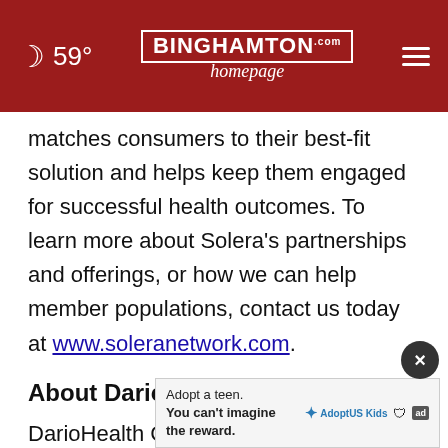59° Binghamton Homepage | hamburger menu
matches consumers to their best-fit solution and helps keep them engaged for successful health outcomes. To learn more about Solera's partnerships and offerings, or how we can help member populations, contact us today at www.soleranetwork.com.
About DarioHealth Corp.
DarioHealth Corp. (NASDAQ:DRIO) is a leading digital therapeutics (DTx) company revol… conditions manage their health through a…
[Figure (screenshot): Advertisement overlay: 'Adopt a teen. You can't imagine the reward.' with Adopt US Kids and HHS logos and ad badge. A circular close button (×) appears above the ad.]